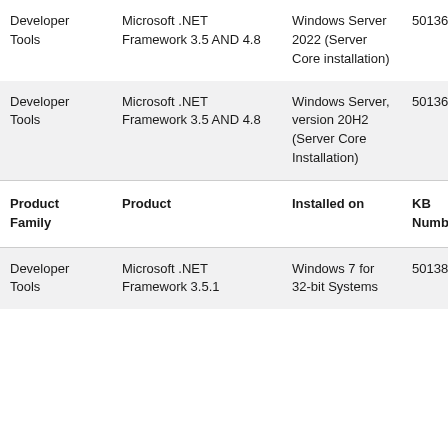| Product Family | Product | Installed on | KB Number |
| --- | --- | --- | --- |
| Developer Tools | Microsoft .NET Framework 3.5 AND 4.8 | Windows Server 2022 (Server Core installation) | 50136… |
| Developer Tools | Microsoft .NET Framework 3.5 AND 4.8 | Windows Server, version 20H2 (Server Core Installation) | 50136… |
| Product Family | Product | Installed on | KB Number |
| Developer Tools | Microsoft .NET Framework 3.5.1 | Windows 7 for 32-bit Systems | 50138… |